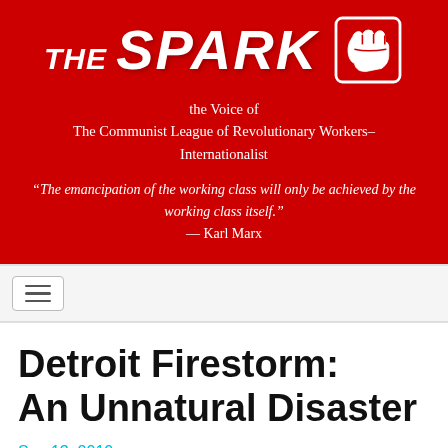THE SPARK — the Voice of The Communist League of Revolutionary Workers–Internationalist
“The emancipation of the working class will only be achieved by the working class itself.” — Karl Marx
Detroit Firestorm: An Unnatural Disaster
Sep 13, 2010